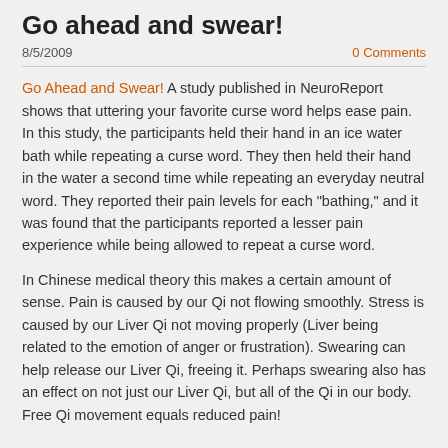Go ahead and swear!
8/5/2009   0 Comments
Go Ahead and Swear! A study published in NeuroReport shows that uttering your favorite curse word helps ease pain. In this study, the participants held their hand in an ice water bath while repeating a curse word. They then held their hand in the water a second time while repeating an everyday neutral word. They reported their pain levels for each "bathing," and it was found that the participants reported a lesser pain experience while being allowed to repeat a curse word.
In Chinese medical theory this makes a certain amount of sense. Pain is caused by our Qi not flowing smoothly. Stress is caused by our Liver Qi not moving properly (Liver being related to the emotion of anger or frustration). Swearing can help release our Liver Qi, freeing it. Perhaps swearing also has an effect on not just our Liver Qi, but all of the Qi in our body. Free Qi movement equals reduced pain!